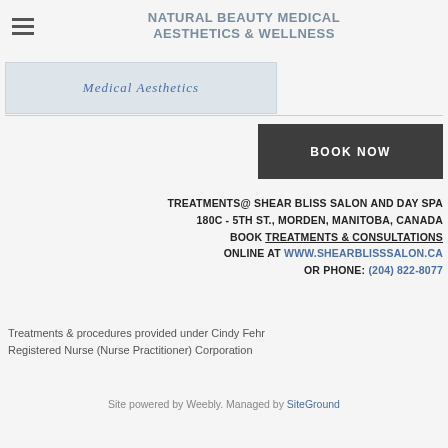NATURAL BEAUTY MEDICAL AESTHETICS & WELLNESS
[Figure (logo): Medical Aesthetics logo/image strip in blue-gray tones]
BOOK NOW
TREATMENTS@ SHEAR BLISS SALON AND DAY SPA
180C - 5TH ST., MORDEN, MANITOBA, CANADA
BOOK TREATMENTS & CONSULTATIONS ONLINE AT WWW.SHEARBLISSSALON.CA OR PHONE: (204) 822-8077
Treatments & procedures provided under Cindy Fehr Registered Nurse (Nurse Practitioner) Corporation
Site powered by Weebly. Managed by SiteGround